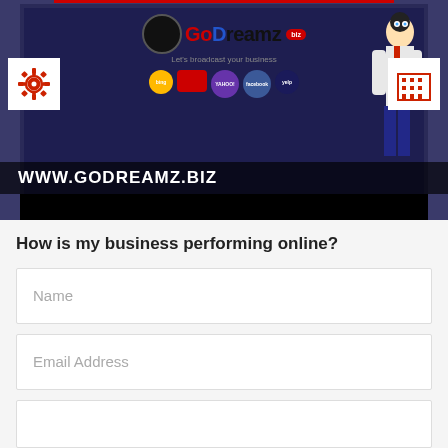[Figure (screenshot): GoDreamz business broadcasting website screenshot showing logo with cartoon character wearing sunglasses, social media icons (Bing, Yahoo, Facebook, Yelp), settings gear icon, building icon, and URL www.godreamz.biz in white bold text on dark background]
How is my business performing online?
Name
Email Address